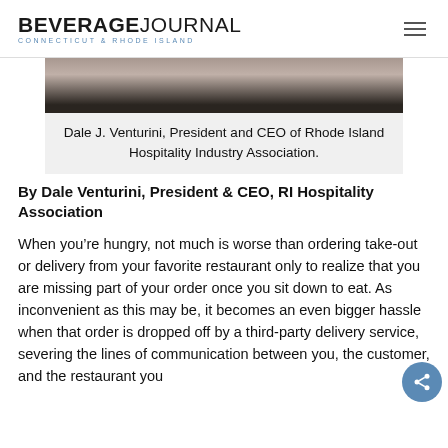BEVERAGE JOURNAL — Connecticut & Rhode Island
[Figure (photo): Partial photo of Dale J. Venturini, President and CEO of Rhode Island Hospitality Industry Association]
Dale J. Venturini, President and CEO of Rhode Island Hospitality Industry Association.
By Dale Venturini, President & CEO, RI Hospitality Association
When you're hungry, not much is worse than ordering take-out or delivery from your favorite restaurant only to realize that you are missing part of your order once you sit down to eat. As inconvenient as this may be, it becomes an even bigger hassle when that order is dropped off by a third-party delivery service, severing the lines of communication between you, the customer, and the restaurant you